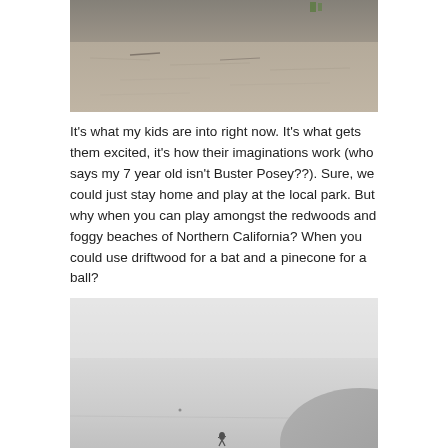[Figure (photo): Top portion of a beach photo showing sand with footprints and some debris, cropped at top and bottom edges]
It's what my kids are into right now. It's what gets them excited, it's how their imaginations work (who says my 7 year old isn't Buster Posey??). Sure, we could just stay home and play at the local park. But why when you can play amongst the redwoods and foggy beaches of Northern California? When you could use driftwood for a bat and a pinecone for a ball?
[Figure (photo): A foggy beach scene in Northern California with a small figure visible in the distance and a hillside on the right]